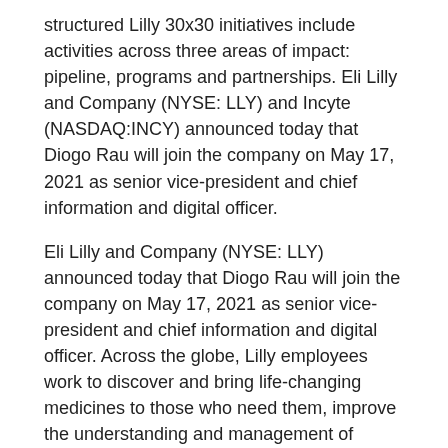structured Lilly 30x30 initiatives include activities across three areas of impact: pipeline, programs and partnerships. Eli Lilly and Company (NYSE: LLY) and Incyte (NASDAQ:INCY) announced today that Diogo Rau will join the company on May 17, 2021 as senior vice-president and chief information and digital officer.
Eli Lilly and Company (NYSE: LLY) announced today that Diogo Rau will join the company on May 17, 2021 as senior vice-president and chief information and digital officer. Across the globe, Lilly employees work to discover and bring life-changing medicines to those who need them, improve the understanding and management of disease, and give back to communities through philanthropy and volunteerism how long does pepcid last. This press release contains forward-looking statements to reflect events after the date of this release. The share repurchase authorizations permit shares to be